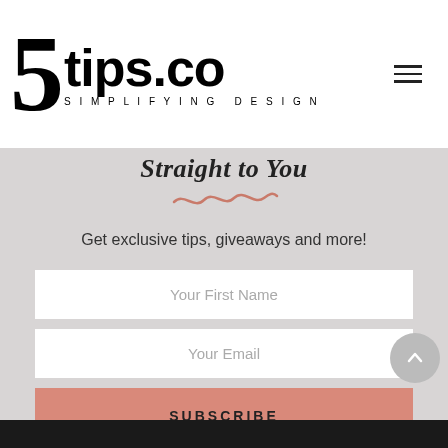5tips.co SIMPLIFYING DESIGN
Straight to You
Get exclusive tips, giveaways and more!
Your First Name
Your Email
SUBSCRIBE